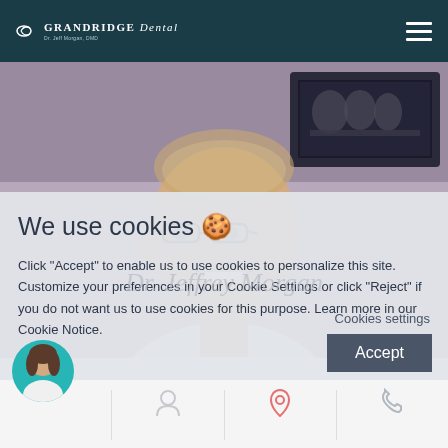GRANDRIDGE Dental — Dr. Jeff Morgan, DMD
[Figure (photo): Photo of Dr. Jeffrey Morgan smiling, wearing glasses, with a dental X-ray screen visible in the background]
We use cookies 🍪
Click "Accept" to enable us to use cookies to personalize this site. Customize your preferences in your Cookie Settings or click "Reject" if you do not want us to use cookies for this purpose. Learn more in our Cookie Notice.
Dr. Jeffrey Morgan
Cookies settings
Accept